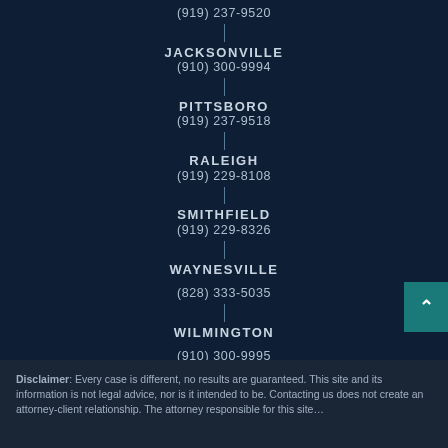(919) 237-9520
JACKSONVILLE
(910) 300-9994
PITTSBORO
(919) 237-9518
RALEIGH
(919) 229-8108
SMITHFIELD
(919) 229-8326
WAYNESVILLE
(828) 333-5035
WILMINGTON
(910) 300-9995
Disclaimer: Every case is different, no results are guaranteed. This site and its information is not legal advice, nor is it intended to be. Contacting us does not create an attorney-client relationship. The attorney responsible for this site…